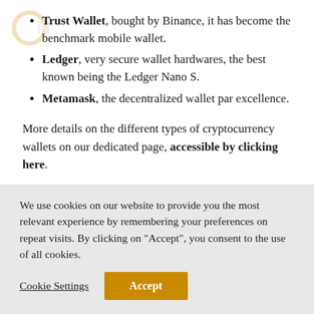Trust Wallet, bought by Binance, it has become the benchmark mobile wallet.
Ledger, very secure wallet hardwares, the best known being the Ledger Nano S.
Metamask, the decentralized wallet par excellence.
More details on the different types of cryptocurrency wallets on our dedicated page, accessible by clicking here.
Our opinion on this project
Fortunately, the Polygon project is there now, to take over and
We use cookies on our website to provide you the most relevant experience by remembering your preferences on repeat visits. By clicking on "Accept", you consent to the use of all cookies.
Cookie Settings
Accept